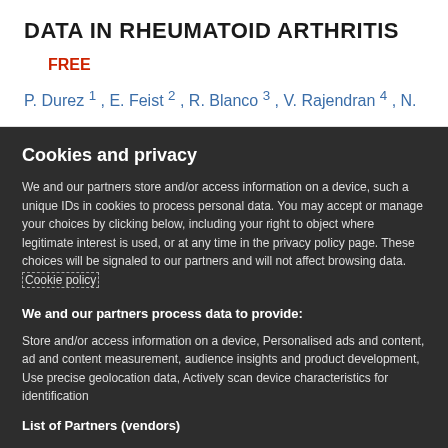DATA IN RHEUMATOID ARTHRITIS
FREE
P. Durez 1 , E. Feist 2 , R. Blanco 3 , V. Rajendran 4 , N.
Cookies and privacy
We and our partners store and/or access information on a device, such a unique IDs in cookies to process personal data. You may accept or manage your choices by clicking below, including your right to object where legitimate interest is used, or at any time in the privacy policy page. These choices will be signaled to our partners and will not affect browsing data. Cookie policy
We and our partners process data to provide:
Store and/or access information on a device, Personalised ads and content, ad and content measurement, audience insights and product development, Use precise geolocation data, Actively scan device characteristics for identification
List of Partners (vendors)
I Accept